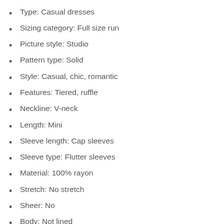Type: Casual dresses
Sizing category: Full size run
Picture style: Studio
Pattern type: Solid
Style: Casual, chic, romantic
Features: Tiered, ruffle
Neckline: V-neck
Length: Mini
Sleeve length: Cap sleeves
Sleeve type: Flutter sleeves
Material: 100% rayon
Stretch: No stretch
Sheer: No
Body: Not lined
Care instructions: Machine wash cold. Tumble dry low.
Made in Vietnam
Models are wearing sizes S and 1X.
Product measurements:
S bust 28 in. length 33 in.